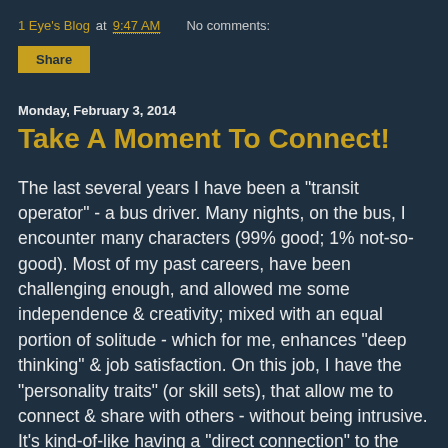1 Eye's Blog at 9:47 AM   No comments:
Share
Monday, February 3, 2014
Take A Moment To Connect!
The last several years I have been a "transit operator" - a bus driver. Many nights, on the bus, I encounter many characters (99% good; 1% not-so-good). Most of my past careers, have been challenging enough, and allowed me some independence & creativity; mixed with an equal portion of solitude - which for me, enhances "deep thinking" & job satisfaction. On this job, I have the "personality traits" (or skill sets), that allow me to connect & share with others - without being intrusive. It's kind-of-like having a "direct connection" to the soul. "Eye connection" is required to establish this "liaison of the souls". Also."being present" in the moment, is another prerequisite - that creates this sense of "oneness". I most enjoy thinking - what the riders life is about; you know - their story. What I have found in common with many is that